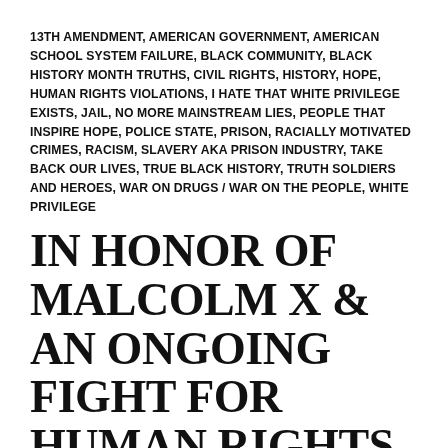13TH AMENDMENT, AMERICAN GOVERNMENT, AMERICAN SCHOOL SYSTEM FAILURE, BLACK COMMUNITY, BLACK HISTORY MONTH TRUTHS, CIVIL RIGHTS, HISTORY, HOPE, HUMAN RIGHTS VIOLATIONS, I HATE THAT WHITE PRIVILEGE EXISTS, JAIL, NO MORE MAINSTREAM LIES, PEOPLE THAT INSPIRE HOPE, POLICE STATE, PRISON, RACIALLY MOTIVATED CRIMES, RACISM, SLAVERY AKA PRISON INDUSTRY, TAKE BACK OUR LIVES, TRUE BLACK HISTORY, TRUTH SOLDIERS AND HEROES, WAR ON DRUGS / WAR ON THE PEOPLE, WHITE PRIVILEGE
IN HONOR OF MALCOLM X & AN ONGOING FIGHT FOR HUMAN RIGHTS IN AMERICA- VIDEO
FEBRUARY 21, 2017   1 COMMENT
Today in 1965 we lost a legendary man, body and soul, a true